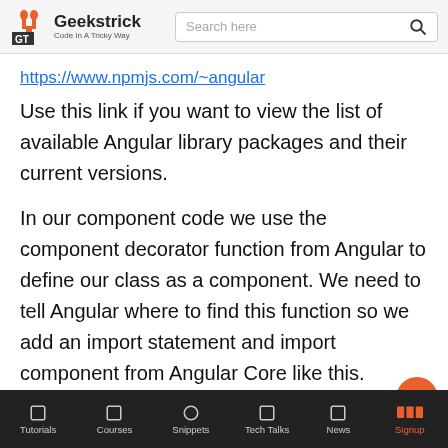Geekstrick — Code In A Tricky Way
https://www.npmjs.com/~angular
Use this link if you want to view the list of available Angular library packages and their current versions.
In our component code we use the component decorator function from Angular to define our class as a component. We need to tell Angular where to find this function so we add an import statement and import component from Angular Core like this.
Tutorials | Courses | Snippets | Tech Talks | News | Signup